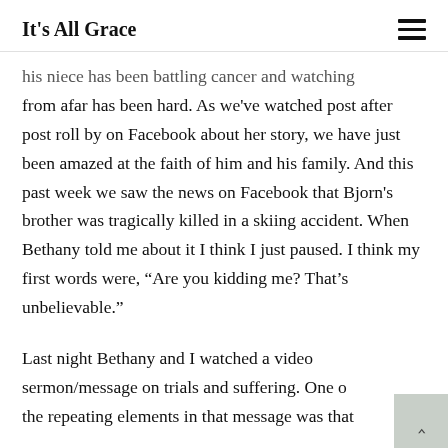It's All Grace
his niece has been battling cancer and watching from afar has been hard. As we've watched post after post roll by on Facebook about her story, we have just been amazed at the faith of him and his family. And this past week we saw the news on Facebook that Bjorn's brother was tragically killed in a skiing accident. When Bethany told me about it I think I just paused. I think my first words were, “Are you kidding me? That’s unbelievable.”
Last night Bethany and I watched a video sermon/message on trials and suffering. One of the repeating elements in that message was that